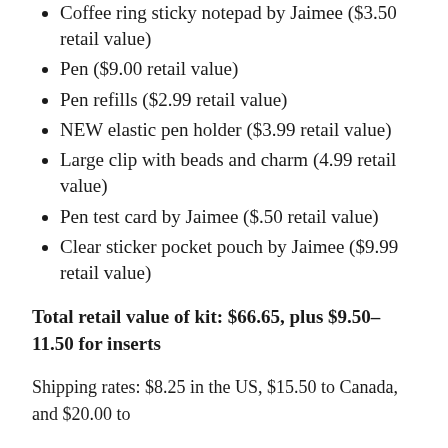Coffee ring sticky notepad by Jaimee ($3.50 retail value)
Pen ($9.00 retail value)
Pen refills ($2.99 retail value)
NEW elastic pen holder ($3.99 retail value)
Large clip with beads and charm (4.99 retail value)
Pen test card by Jaimee ($.50 retail value)
Clear sticker pocket pouch by Jaimee ($9.99 retail value)
Total retail value of kit: $66.65, plus $9.50-11.50 for inserts
Shipping rates: $8.25 in the US, $15.50 to Canada, and $20.00 to